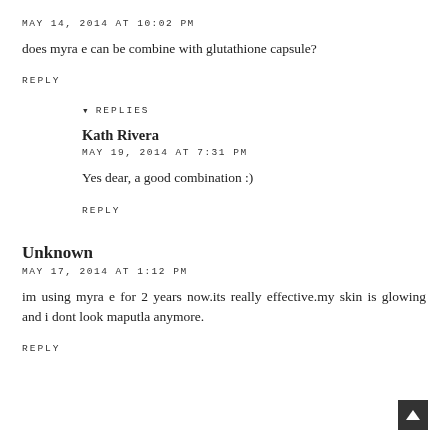MAY 14, 2014 AT 10:02 PM
does myra e can be combine with glutathione capsule?
REPLY
▾ REPLIES
Kath Rivera
MAY 19, 2014 AT 7:31 PM
Yes dear, a good combination :)
REPLY
Unknown
MAY 17, 2014 AT 1:12 PM
im using myra e for 2 years now.its really effective.my skin is glowing and i dont look maputla anymore.
REPLY